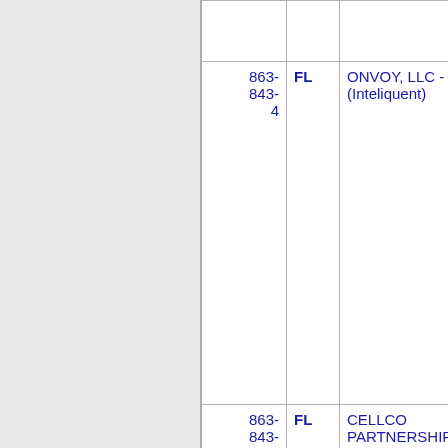| Number | State | Company | Code |
| --- | --- | --- | --- |
| 863-843-4 | FL | ONVOY, LLC - FL (Inteliquent) | 937C |
| 863-843-5 | FL | CELLCO PARTNERSHIP DBA VERIZON (Verizon Wireless) | 6502 |